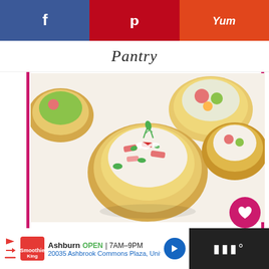[Figure (other): Social media sharing bar with Facebook (blue), Pinterest (red), and Yummly (orange-red) buttons]
Pantry
[Figure (photo): Food photo showing BLT Appetizer Cups - small golden pastry cups filled with bacon, lettuce, tomato, and lemon herb mayo garnish]
BLT Appetizer Cups with Lemon Herb Mayo
241
WHAT'S NEXT → BLT Panzanella
Ashburn OPEN 7AM–9PM 20035 Ashbrook Commons Plaza, Unit